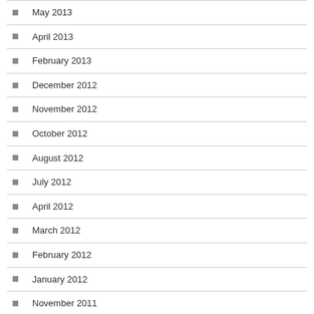May 2013
April 2013
February 2013
December 2012
November 2012
October 2012
August 2012
July 2012
April 2012
March 2012
February 2012
January 2012
November 2011
October 2011
September 2011